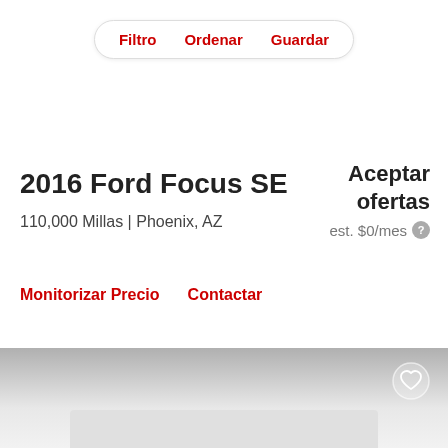[Figure (screenshot): Navigation bar with Filtro, Ordenar, Guardar pill buttons]
2016 Ford Focus SE
110,000 Millas | Phoenix, AZ
Aceptar ofertas
est. $0/mes
Monitorizar Precio   Contactar
[Figure (illustration): Gray gradient band with heart/favorite icon and a partially visible car listing card below]